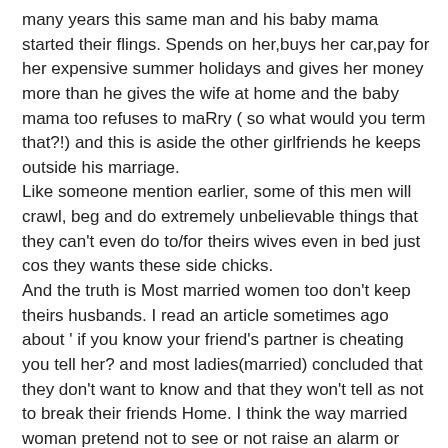many years this same man and his baby mama started their flings. Spends on her,buys her car,pay for her expensive summer holidays and gives her money more than he gives the wife at home and the baby mama too refuses to maRry ( so what would you term that?!) and this is aside the other girlfriends he keeps outside his marriage.
Like someone mention earlier, some of this men will crawl, beg and do extremely unbelievable things that they can't even do to/for theirs wives even in bed just cos they wants these side chicks.
And the truth is Most married women too don't keep theirs husbands. I read an article sometimes ago about ' if you know your friend's partner is cheating you tell her? and most ladies(married) concluded that they don't want to know and that they won't tell as not to break their friends Home. I think the way married woman pretend not to see or not raise an alarm or rebuke any man around them also gives them the condign to continue to cheats.
🔥